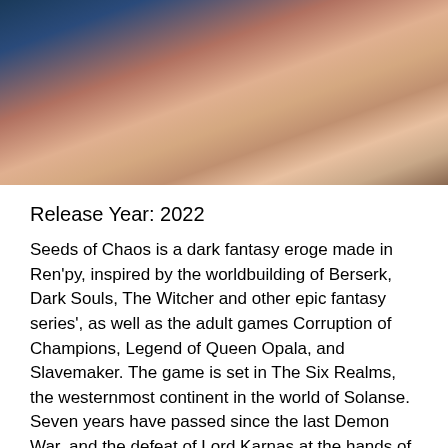[Figure (illustration): Anime/manga style illustration showing two figures in an intimate scene on a bed with blue and brown bedding. One figure has red/orange braided hair.]
Release Year: 2022
Seeds of Chaos is a dark fantasy eroge made in Ren'py, inspired by the worldbuilding of Berserk, Dark Souls, The Witcher and other epic fantasy series', as well as the adult games Corruption of Champions, Legend of Queen Opala, and Slavemaker. The game is set in The Six Realms, the westernmost continent in the world of Solanse. Seven years have passed since the last Demon War, and the defeat of Lord Karnas at the hands of the forces of Light ushered in a new era of peace and prosperity for all the races of the six kingdoms. Fifteen years have